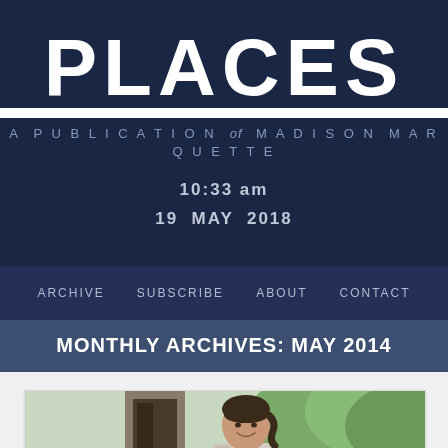PLACES
A PUBLICATION of MADISON MARQUETTE
10:33 am
19 MAY 2018
ARCHIVE  SUBSCRIBE  ABOUT  CONTACT
MONTHLY ARCHIVES: MAY 2014
[Figure (photo): Photo of a young woman smiling, wearing a light blazer, photographed outdoors with greenery in the background]